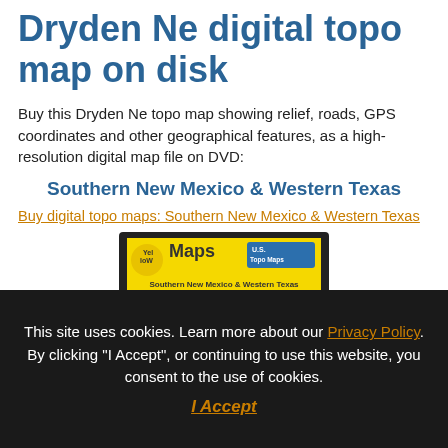Dryden Ne digital topo map on disk
Buy this Dryden Ne topo map showing relief, roads, GPS coordinates and other geographical features, as a high-resolution digital map file on DVD:
Southern New Mexico & Western Texas
Buy digital topo maps: Southern New Mexico & Western Texas
[Figure (photo): YellowMaps DVD product image showing 'Southern New Mexico & Western Texas, Volume 19 - Zone 13-5']
This site uses cookies. Learn more about our Privacy Policy. By clicking "I Accept", or continuing to use this website, you consent to the use of cookies.
I Accept